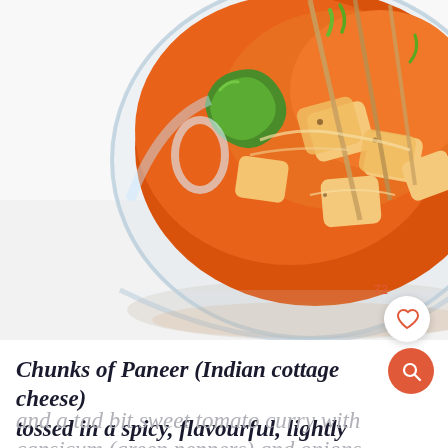[Figure (photo): A glass bowl filled with Paneer tikka masala — orange-red spiced sauce with chunks of paneer (cottage cheese), green capsicum, and wooden skewers, on a white background.]
72
Chunks of Paneer (Indian cottage cheese) tossed in a spicy, flavourful, lightly tangy and a tad bit sweet tomato curry with capsicum (green peppers) and onions.